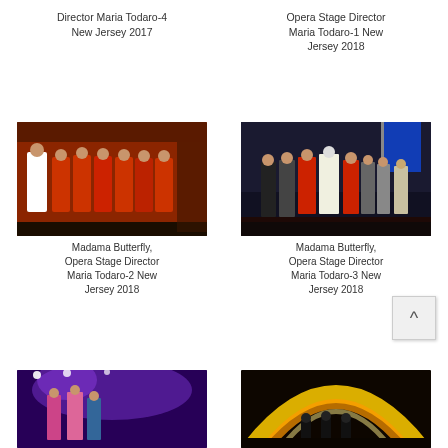Director Maria Todaro-4 New Jersey 2017
Opera Stage Director Maria Todaro-1 New Jersey 2018
[Figure (photo): Opera performers on stage in red and white costumes, Madama Butterfly production]
[Figure (photo): Opera performers on stage, Madama Butterfly production with blue flag in background]
Madama Butterfly, Opera Stage Director Maria Todaro-2 New Jersey 2018
Madama Butterfly, Opera Stage Director Maria Todaro-3 New Jersey 2018
[Figure (photo): Opera performers on stage with purple lighting]
[Figure (photo): Stage with golden arch lighting]